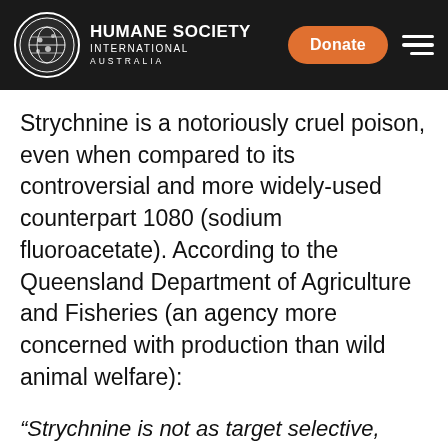HUMANE SOCIETY INTERNATIONAL AUSTRALIA
Strychnine is a notoriously cruel poison, even when compared to its controversial and more widely-used counterpart 1080 (sodium fluoroacetate). According to the Queensland Department of Agriculture and Fisheries (an agency more concerned with production than wild animal welfare):
“Strychnine is not as target selective, does not readily break down in the environment and is considered to be less humane as affected animals remain conscious and appear to suffer pain and